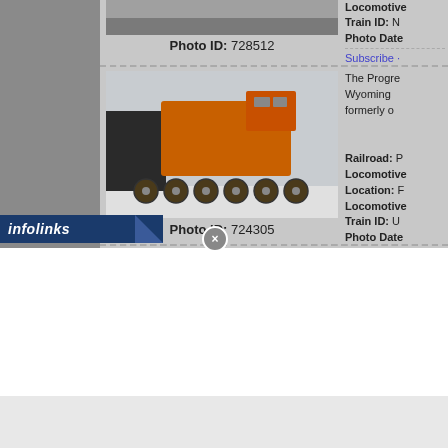[Figure (photo): Railroad locomotive photo, Photo ID 728512, partial view at top of page]
Photo ID: 728512
Locomotive
Train ID: N
Photo Date
Subscribe ·
[Figure (photo): Orange railroad locomotive on tracks with wheel sets in foreground, snowy/industrial setting, Photo ID 724305]
Photo ID: 724305
The Progre
Wyoming
formerly o
Railroad: P
Locomotive
Location: F
Locomotive
Train ID: U
Photo Date
Subscribe ·
[Figure (photo): Red locomotive/train car in bright daylight with blue sky and trees, partially cut off at bottom]
Progress R
in Waycros
Services ar
Railroad: D
[Figure (logo): infolinks logo in dark blue bar at bottom left]
[Figure (other): Close/X button overlay circle]